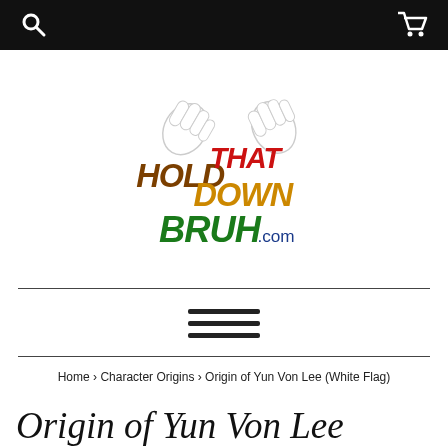[search icon] [cart icon]
[Figure (logo): Hold That Down Bruh .com logo with colorful bubble letters and cartoon white glove hands raised above]
Home › Character Origins › Origin of Yun Von Lee (White Flag)
Origin of Yun Von Lee (White